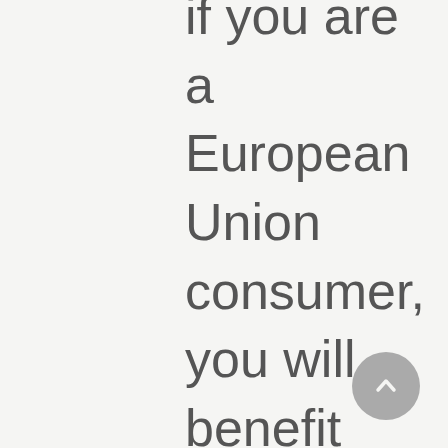if you are a European Union consumer, you will benefit from any mandatory provisions of the law of the country in which you are resident in